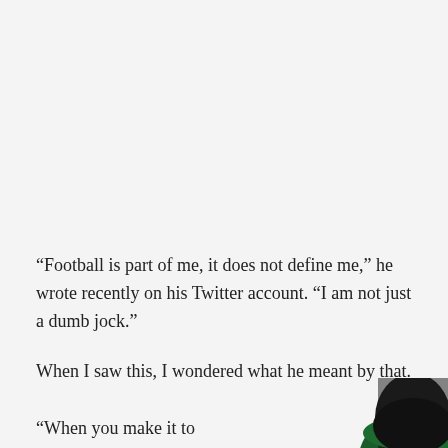“Football is part of me, it does not define me,” he wrote recently on his Twitter account. “I am not just a dumb jock.”
When I saw this, I wondered what he meant by that.
“When you make it to
[Figure (photo): Partial photo of a person in dark green clothing, cropped at bottom-right corner of page]